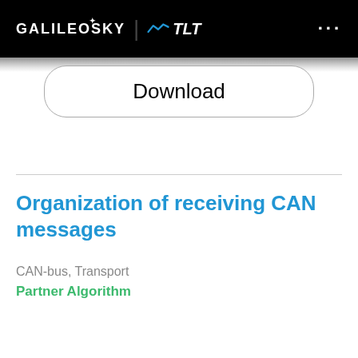GALILEOSKY | TLT
Download
Organization of receiving CAN messages
CAN-bus, Transport
Partner Algorithm